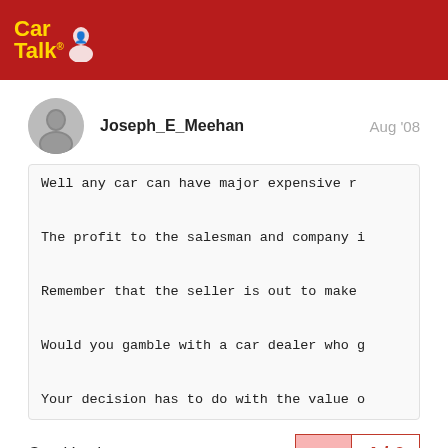Car Talk
Joseph_E_Meehan   Aug '08
Well any car can have major expensive r
The profit to the salesman and company i
Remember that the seller is out to make
Would you gamble with a car dealer who g
Your decision has to do with the value o
Good Luck
4 / 6